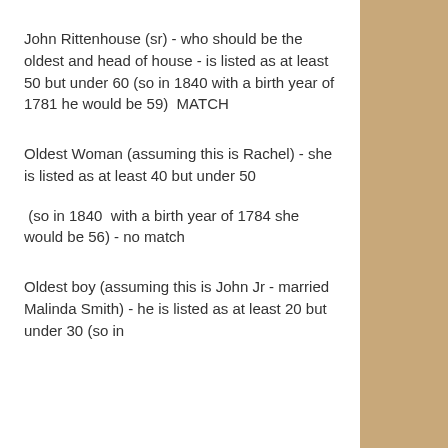John Rittenhouse (sr) - who should be the oldest and head of house - is listed as at least 50 but under 60 (so in 1840 with a birth year of 1781 he would be 59)  MATCH
Oldest Woman (assuming this is Rachel) - she is listed as at least 40 but under 50
(so in 1840  with a birth year of 1784 she would be 56) - no match
Oldest boy (assuming this is John Jr - married Malinda Smith) - he is listed as at least 20 but under 30 (so in